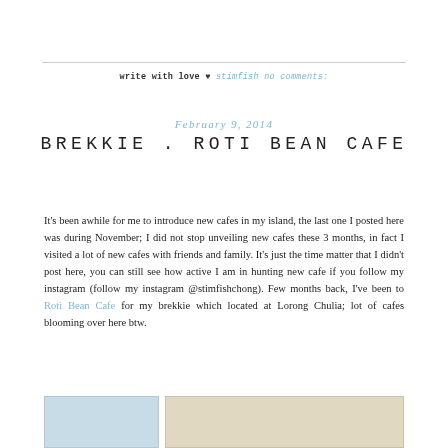write with love ♥ stimfish no comments:
February 9, 2014
BREKKIE . ROTI BEAN CAFE
It's been awhile for me to introduce new cafes in my island, the last one I posted here was during November; I did not stop unveiling new cafes these 3 months, in fact I visited a lot of new cafes with friends and family. It's just the time matter that I didn't post here, you can still see how active I am in hunting new cafe if you follow my instagram (follow my instagram @stimfishchong). Few months back, I've been to Roti Bean Cafe for my brekkie which located at Lorong Chulia; lot of cafes blooming over here btw.
[Figure (photo): Two food/cafe photos at the bottom of the page, partially visible — left photo shows a light blue toned image, right photo shows a warm/food toned image.]